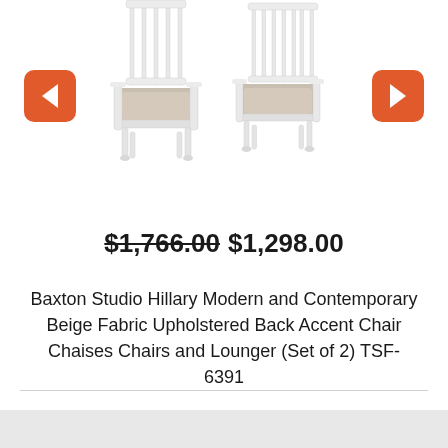[Figure (photo): Two white spindle-back accent chairs with beige upholstered cushions shown side by side, with orange left and right navigation arrow buttons on either side]
$1,766.00  $1,298.00
Baxton Studio Hillary Modern and Contemporary Beige Fabric Upholstered Back Accent Chair Chaises Chairs and Lounger (Set of 2) TSF-6391